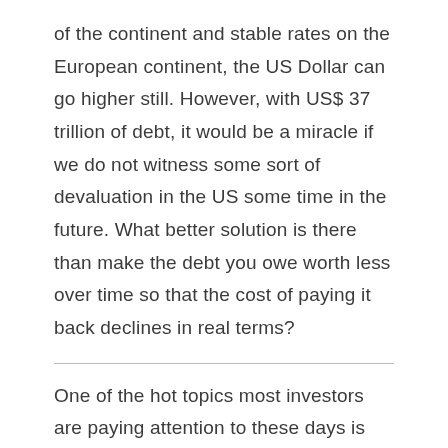of the continent and stable rates on the European continent, the US Dollar can go higher still. However, with US$ 37 trillion of debt, it would be a miracle if we do not witness some sort of devaluation in the US some time in the future. What better solution is there than make the debt you owe worth less over time so that the cost of paying it back declines in real terms?
One of the hot topics most investors are paying attention to these days is the corporate scandals and their impact on the economy. They are stunned by the abuse of power of greedy CEOs and worry about the loss of